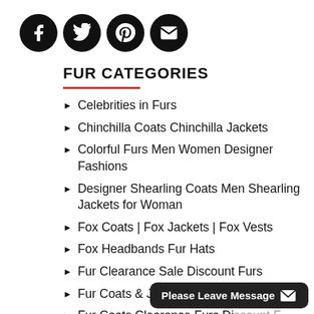[Figure (other): Four social media icon circles: Facebook, Twitter, Pinterest, Email]
FUR CATEGORIES
Celebrities in Furs
Chinchilla Coats Chinchilla Jackets
Colorful Furs Men Women Designer Fashions
Designer Shearling Coats Men Shearling Jackets for Woman
Fox Coats | Fox Jackets | Fox Vests
Fox Headbands Fur Hats
Fur Clearance Sale Discount Furs
Fur Coats & Jackets for Men
Fur Coats Clearance Furs Discount Furs
Fur Coats Fur Fashion Trends